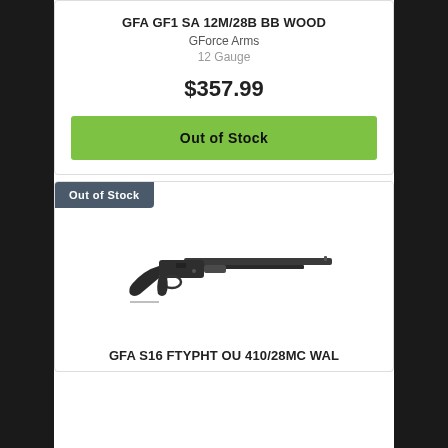GFA GF1 SA 12M/28B BB WOOD
GForce Arms
12 Gauge
$357.99
Out of Stock
Out of Stock
[Figure (photo): Pump-action shotgun with black synthetic stock, side view]
GFA S16 FTYPHT OU 410/28MC WAL